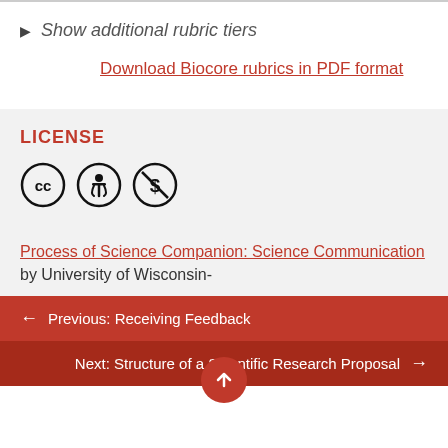▶ Show additional rubric tiers
Download Biocore rubrics in PDF format
LICENSE
[Figure (illustration): Creative Commons license icons: CC, BY (attribution), and NC (non-commercial) symbols in circles]
Process of Science Companion: Science Communication by University of Wisconsin-
← Previous: Receiving Feedback
Next: Structure of a Scientific Research Proposal →